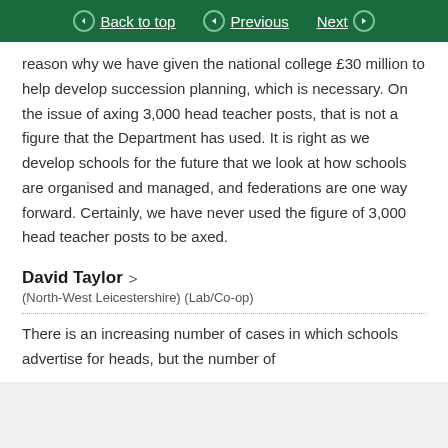Back to top | Previous | Next
reason why we have given the national college £30 million to help develop succession planning, which is necessary. On the issue of axing 3,000 head teacher posts, that is not a figure that the Department has used. It is right as we develop schools for the future that we look at how schools are organised and managed, and federations are one way forward. Certainly, we have never used the figure of 3,000 head teacher posts to be axed.
David Taylor
(North-West Leicestershire) (Lab/Co-op)
There is an increasing number of cases in which schools advertise for heads, but the number of